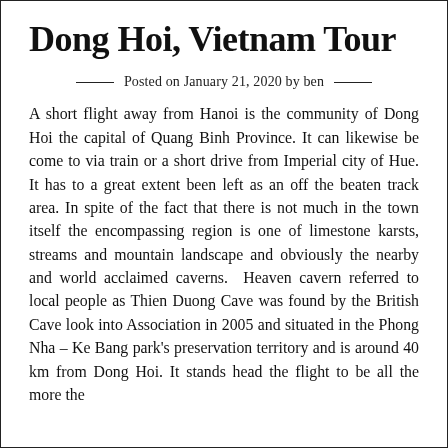Dong Hoi, Vietnam Tour
Posted on January 21, 2020 by ben
A short flight away from Hanoi is the community of Dong Hoi the capital of Quang Binh Province. It can likewise be come to via train or a short drive from Imperial city of Hue. It has to a great extent been left as an off the beaten track area. In spite of the fact that there is not much in the town itself the encompassing region is one of limestone karsts, streams and mountain landscape and obviously the nearby and world acclaimed caverns. Heaven cavern referred to local people as Thien Duong Cave was found by the British Cave look into Association in 2005 and situated in the Phong Nha – Ke Bang park's preservation territory and is around 40 km from Dong Hoi. It stands head the flight to be all the more the…